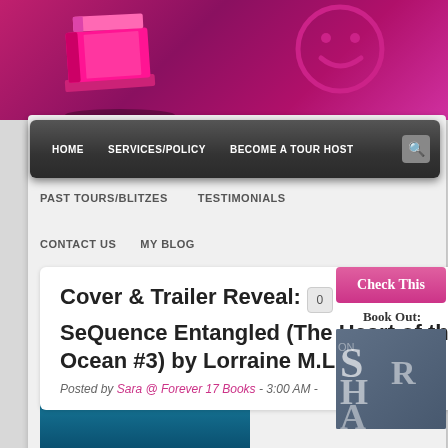[Figure (screenshot): Website header banner with pink/magenta background, book stack illustration on left, smiley face icon on right]
HOME   SERVICES/POLICY   BECOME A TOUR HOST
PAST TOURS/BLITZES   TESTIMONIALS
CONTACT US   MY BLOG
Cover & Trailer Reveal: SeQuence Entangled (The Heart of the Ocean #3) by Lorraine M.L.M.!
Posted by Sara @ Forever 17 Books - 3:00 AM -
[Figure (screenshot): Check This Out sidebar widget with pink header and book cover image showing partial letters S, H, A, R]
[Figure (photo): Partial book cover image at the bottom, teal/ocean colored]